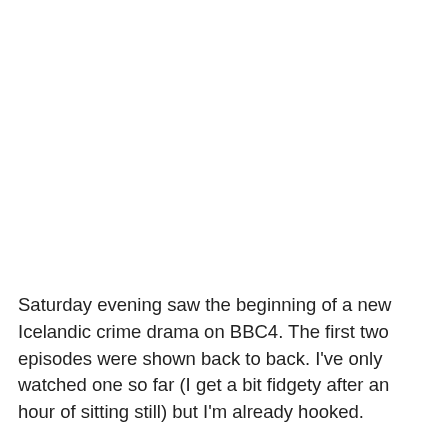Saturday evening saw the beginning of a new Icelandic crime drama on BBC4. The first two episodes were shown back to back. I've only watched one so far (I get a bit fidgety after an hour of sitting still) but I'm already hooked.